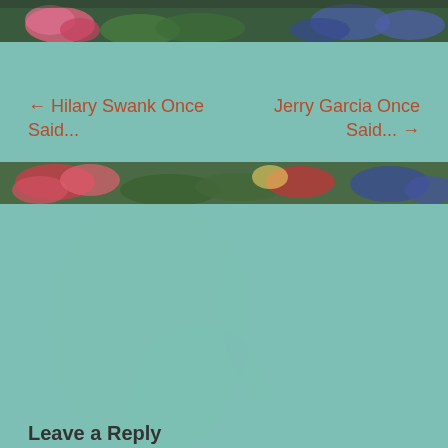[Figure (photo): Top banner: strip of colorful garden flowers including pink roses and blue flowers against green foliage]
← Hilary Swank Once Said...
Jerry Garcia Once Said... →
[Figure (photo): Middle banner: strip of colorful garden flowers including pink and red roses and blue flowers]
Leave a Reply
Your email address will not be published. Required fields are marked *
Comment *